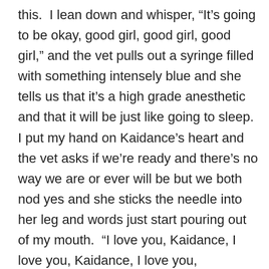this.  I lean down and whisper, “It’s going to be okay, good girl, good girl, good girl,” and the vet pulls out a syringe filled with something intensely blue and she tells us that it’s a high grade anesthetic and that it will be just like going to sleep.  I put my hand on Kaidance’s heart and the vet asks if we’re ready and there’s no way we are or ever will be but we both nod yes and she sticks the needle into her leg and words just start pouring out of my mouth.  “I love you, Kaidance, I love you, Kaidance, I love you, Kaidance.  Good girl.  I love you so much,” and I can’t say it enough.  I can’t get it across.  Every bad thing I’ve ever done to her is flashing into my mind.  Every time I’ve ever yelled at her and every time I’ve thrown her outside for tearing into the trash and every moment of our stupid road trip where I asked her to stop breathing on me and I just want her to stay here and be okay and I just want it over